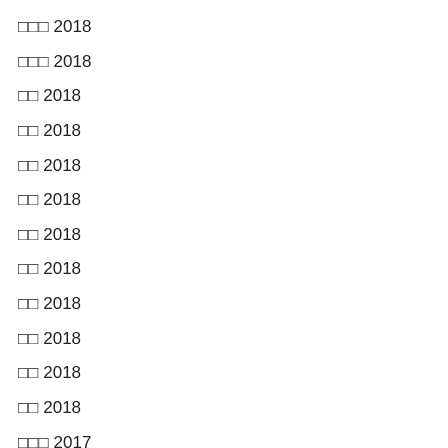□□□ 2018
□□□ 2018
□□ 2018
□□ 2018
□□ 2018
□□ 2018
□□ 2018
□□ 2018
□□ 2018
□□ 2018
□□ 2018
□□ 2018
□□□ 2017